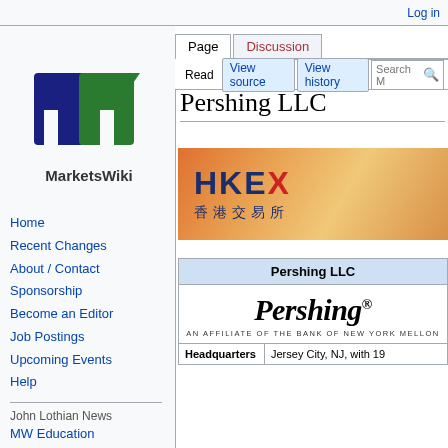Log in
[Figure (logo): MarketsWiki logo — blue and green stylized M letters above the text MarketsWiki]
Page | Discussion | Read | View source | View history | Search
Pershing LLC
[Figure (photo): HKEX (Hong Kong Exchanges and Clearing) advertisement banner with orange/gold background, showing HKEX logo and Chinese characters 香港交易所]
|  |  |
| --- | --- |
| Pershing LLC |  |
| Headquarters | Jersey City, NJ, with 19 |
[Figure (logo): Pershing logo — italic bold text 'Pershing®' with tagline 'AN AFFILIATE OF THE BANK OF NEW YORK MELLON']
Home
Recent Changes
About / Contact
Sponsorship
Become an Editor
Job Postings
Upcoming Events
Help
John Lothian News
MW Education
JohnLothianNews
JLN MWE GoFundMe